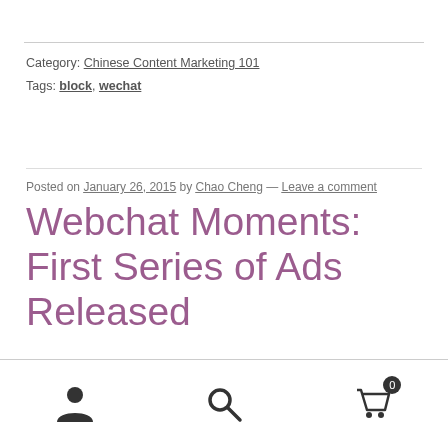Category: Chinese Content Marketing 101
Tags: block, wechat
Posted on January 26, 2015 by Chao Cheng — Leave a comment
Webchat Moments: First Series of Ads Released
[person icon] [search icon] [cart icon with badge 0]